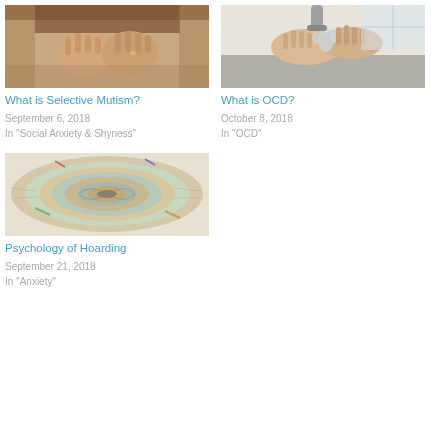[Figure (photo): Person covering face with hands, distressed pose]
What is Selective Mutism?
September 6, 2018
In "Social Anxiety & Shyness"
[Figure (photo): Hands being washed under running water at a sink]
What is OCD?
October 8, 2018
In "OCD"
[Figure (photo): Spiral of rolled and stacked magazines/newspapers viewed from above]
Psychology of Hoarding
September 21, 2018
In "Anxiety"